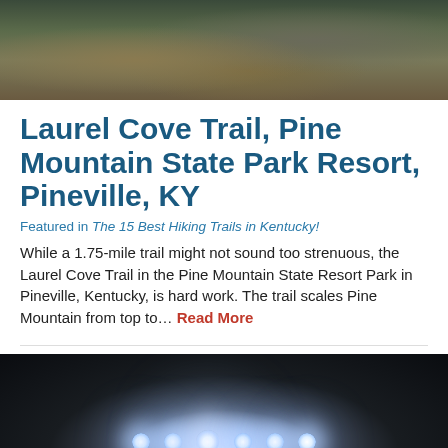[Figure (photo): Rocky trail surface with moss-covered boulders in a forested area, top portion of page]
Laurel Cove Trail, Pine Mountain State Park Resort, Pineville, KY
Featured in The 15 Best Hiking Trails in Kentucky!
While a 1.75-mile trail might not sound too strenuous, the Laurel Cove Trail in the Pine Mountain State Resort Park in Pineville, Kentucky, is hard work. The trail scales Pine Mountain from top to… Read More
[Figure (photo): Dark nighttime photo with bright stadium or venue lights glowing in a row at the bottom of the frame]